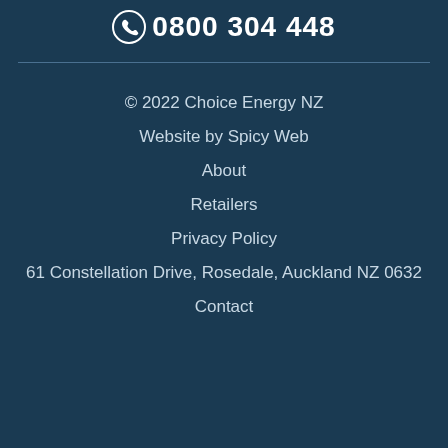0800 304 448
© 2022 Choice Energy NZ
Website by Spicy Web
About
Retailers
Privacy Policy
61 Constellation Drive, Rosedale, Auckland NZ 0632
Contact